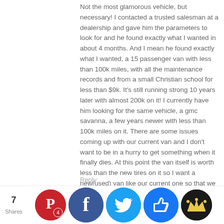Not the most glamorous vehicle, but necessary! I contacted a trusted salesman at a dealership and gave him the parameters to look for and he found exactly what I wanted in about 4 months. And I mean he found exactly what I wanted, a 15 passenger van with less than 100k miles, with all the maintenance records and from a small Christian school for less than $9k. It's still running strong 10 years later with almost 200k on it! I currently have him looking for the same vehicle, a gmc savanna, a few years newer with less than 100k miles on it. There are some issues coming up with our current van and I don't want to be in a hurry to get something when it finally dies. At this point the van itself is worth less than the new tires on it so I want a new(used) van like our current one so that we can use the tires and any other parts we may ever need. I highly value this salesman because we live so rural (central SD) and he has contacts in lots of dealerships in surrounding states.
Reply
Tara @ Moving Little Mountains — April 19, 2019 at 12:14 pm
...think...ld get...seats...poste...the...k of the Ph...